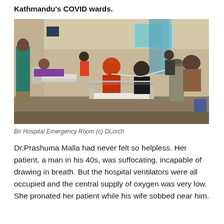Kathmandu's COVID wards.
[Figure (photo): Bir Hospital Emergency Room showing multiple patients on beds, some with oxygen masks, an oxygen cylinder visible on the right, medical staff and family members attending patients in a crowded ward with windows letting in natural light.]
Bir Hospital Emergency Room (c) DLorch
Dr.Prashuma Malla had never felt so helpless. Her patient, a man in his 40s, was suffocating, incapable of drawing in breath. But the hospital ventilators were all occupied and the central supply of oxygen was very low. She pronated her patient while his wife sobbed near him.